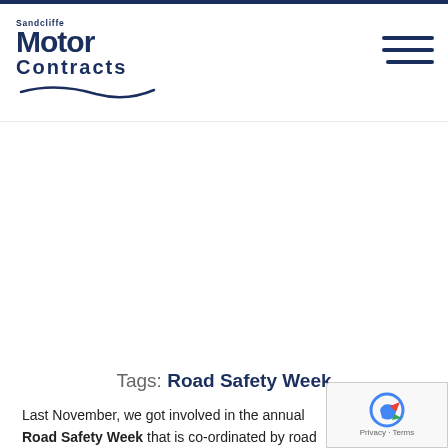Sandcliffe Motor Contracts
Tags: Road Safety Week
Last November, we got involved in the annual Road Safety Week that is co-ordinated by road